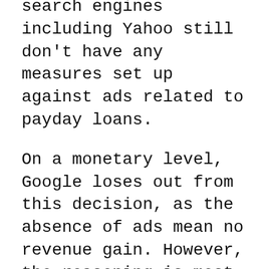As such, networking after how ever, other search engines including Yahoo still don't have any measures set up against ads related to payday loans.
On a monetary level, Google loses out from this decision, as the absence of ads mean no revenue gain. However, the reasoning is most likely a principled stance, and one that sets a standard for other search engines.
It's important to note that consumers can still find sources for payday lenders from organic search results. The change implemented by Google will only have an effect on the AdWords platform. Not to mention that there will still be television